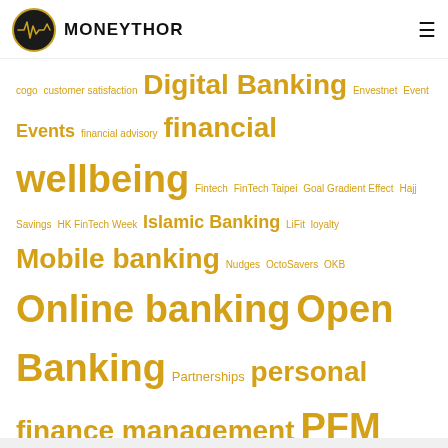MONEYTHOR
cogo customer satisfaction Digital Banking Envestnet Event Events financial advisory financial wellbeing Fintech FinTech Taipei Goal Gradient Effect Hajj Savings HK FinTech Week Islamic Banking LiFit loyalty Mobile banking Nudges OctoSavers OKB Online banking Open Banking Partnerships personal finance management PFM SBSummit SFA SFF Social media Standard Chartered the spacing effect thought leadership vivatech winner Yodlee Zakat